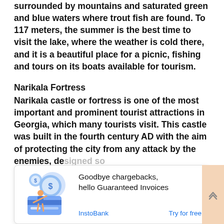surrounded by mountains and saturated green and blue waters where trout fish are found. To 117 meters, the summer is the best time to visit the lake, where the weather is cold there, and it is a beautiful place for a picnic, fishing and tours on its boats available for tourism.
Narikala Fortress
Narikala castle or fortress is one of the most important and prominent tourist attractions in Georgia, which many tourists visit. This castle was built in the fourth century AD with the aim of protecting the city from any attack by the enemies, de... th... ca... su...
[Figure (illustration): Advertisement banner: InstoBank - Goodbye chargebacks, hello Guaranteed Invoices. Features an illustration of a person with coins and a credit card. Links: InstoBank | Try for free]